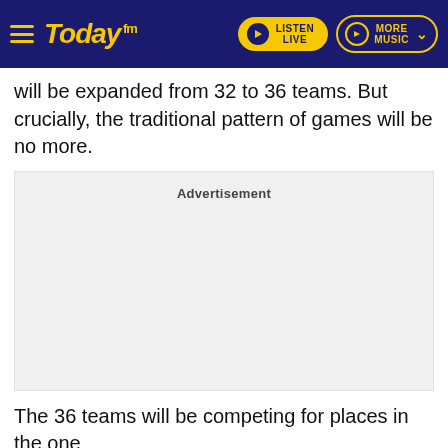Today FM — LISTEN LIVE / MORE MUSIC
will be expanded from 32 to 36 teams. But crucially, the traditional pattern of games will be no more.
[Figure (other): Advertisement placeholder box with label 'Advertisement']
The 36 teams will be competing for places in the one